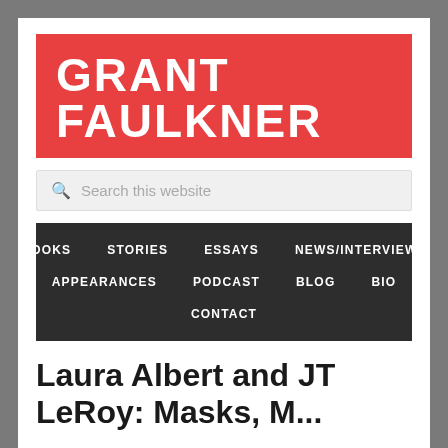GRANT FAULKNER
Search this website
BOOKS  STORIES  ESSAYS  NEWS/INTERVIEWS  APPEARANCES  PODCAST  BLOG  BIO  CONTACT
Laura Albert and JT LeRoy: Masks, M...